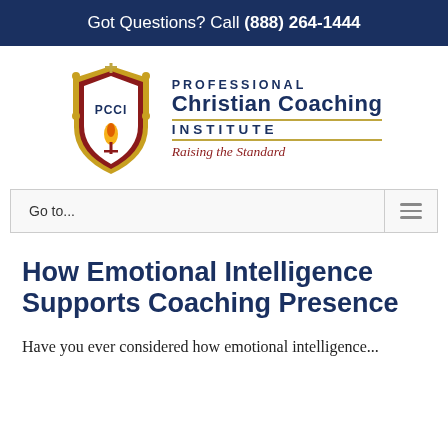Got Questions? Call (888) 264-1444
[Figure (logo): Professional Christian Coaching Institute shield logo with PCCI text, cross at top, flame symbol, and tagline 'Raising the Standard']
Go to...
How Emotional Intelligence Supports Coaching Presence
Have you ever considered how emotional intelligence...